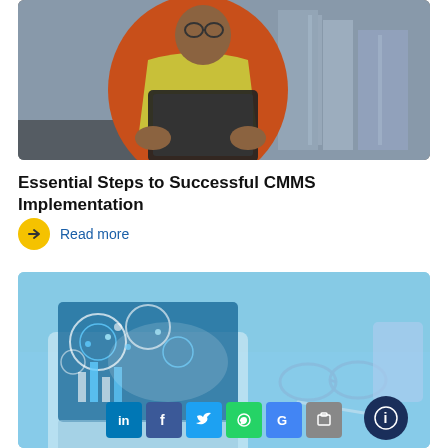[Figure (photo): Worker in orange jacket and yellow safety vest holding a tablet/laptop at a construction site with buildings in background]
Essential Steps to Successful CMMS Implementation
Read more
[Figure (photo): Laptop with digital technology overlay, glasses, pen, and phone on desk in blue/cyan tones representing digital/smart technology]